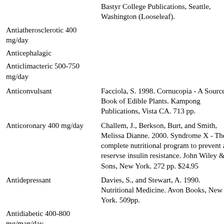| Activity/Dosage | Reference |
| --- | --- |
|  | Bastyr College Publications, Seattle, Washington (Looseleaf). |
| Antiatherosclerotic 400 mg/day |  |
| Anticephalagic |  |
| Anticlimacteric 500-750 mg/day |  |
| Anticonvulsant | Facciola, S. 1998. Cornucopia - A Source Book of Edible Plants. Kampong Publications, Vista CA. 713 pp. |
| Anticoronary 400 mg/day | Challem, J., Berkson, Burt, and Smith, Melissa Dianne. 2000. Syndrome X - The complete nutritional program to prevent and reservse insulin resistance. John Wiley & Sons, New York. 272 pp. $24.95 |
| Antidepressant | Davies, S., and Stewart, A. 1990. Nutritional Medicine. Avon Books, New York. 509pp. |
| Antidiabetic 400-800 mg/man/day |  |
| Antidysmenorrheic 100 mg 4 x/day | Werbach, M. 1993. Healing with Food. Harper Collins, New York, 443 pp. |
| Antiendometriotic 500 |  |